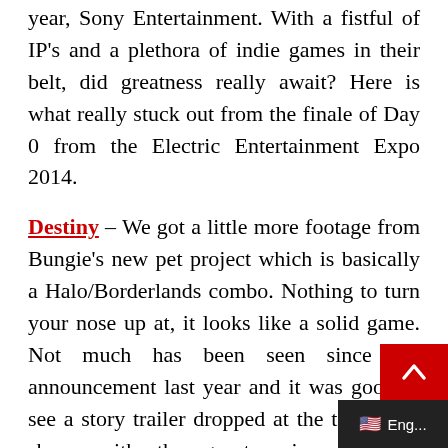year, Sony Entertainment. With a fistful of IP's and a plethora of indie games in their belt, did greatness really await? Here is what really stuck out from the finale of Day 0 from the Electric Entertainment Expo 2014.
Destiny – We got a little more footage from Bungie's new pet project which is basically a Halo/Borderlands combo. Nothing to turn your nose up at, it looks like a solid game. Not much has been seen since the announcement last year and it was good to see a story trailer dropped at the top of the show, with the guest voice of Peter Dinklage no less.
Order 1886 – Again, another title that w…